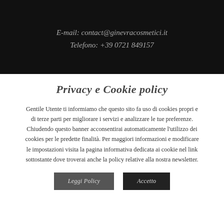E-mail: contact@ginevracosmetici.it
Telefono: +39 0721 849157
Privacy e Cookie policy
Gentile Utente ti informiamo che questo sito fa uso di cookies propri e di terze parti per migliorare i servizi e analizzare le tue preferenze. Chiudendo questo banner acconsentirai automaticamente l'utilizzo dei cookies per le predette finalità. Per maggiori informazioni e modificare le impostazioni visita la pagina informativa dedicata ai cookie nel link sottostante dove troverai anche la policy relative alla nostra newsletter.
Leggi Policy | Accetto